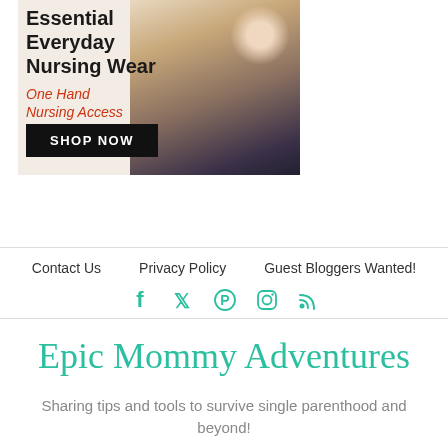[Figure (illustration): Advertisement banner for nursing wear showing a mother kissing a baby, with text 'Essential Everyday Nursing Wear', 'One Hand Nursing Access', and a 'SHOP NOW' button]
Contact Us    Privacy Policy    Guest Bloggers Wanted!
[Figure (infographic): Social media icons: Facebook, Twitter, Pinterest, Instagram, RSS]
Epic Mommy Adventures
Sharing tips and tools to survive single parenthood and beyond!